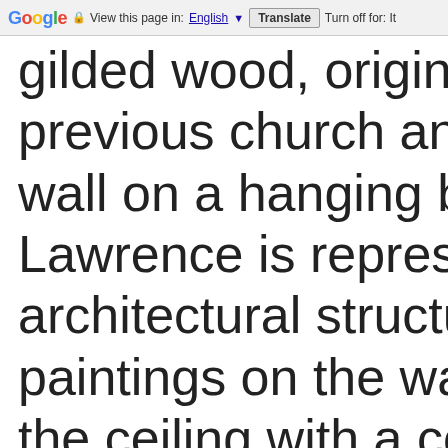Google  View this page in: English ▼  Translate  Turn off for: It
gilded wood, originally previous church and c… wall on a hanging base… Lawrence is represent… architectural structure, paintings on the walls … the ceiling with a coffe… Church of San Loren…
Saint Peter Church (i…